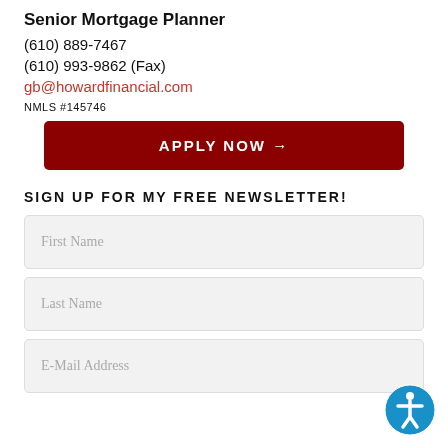Senior Mortgage Planner
(610) 889-7467
(610) 993-9862 (Fax)
gb@howardfinancial.com
NMLS #145746
APPLY NOW →
SIGN UP FOR MY FREE NEWSLETTER!
First Name
Last Name
E-Mail Address